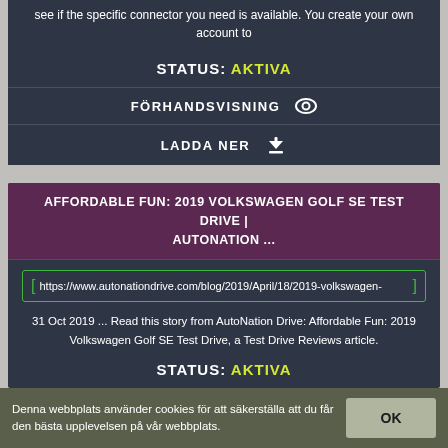see if the specific connector you need is available. You create your own account to
STATUS: AKTIVA
FÖRHANDSVISNING
LADDA NER
AFFORDABLE FUN: 2019 VOLKSWAGEN GOLF SE TEST DRIVE | AUTONATION ...
https://www.autonationdrive.com/blog/2019/April/18/2019-volkswagen-
31 Oct 2019 ... Read this story from AutoNation Drive: Affordable Fun: 2019 Volkswagen Golf SE Test Drive, a Test Drive Reviews article.
STATUS: AKTIVA
Denna webbplats använder cookies för att säkerställa att du får den bästa upplevelsen på vår webbplats.